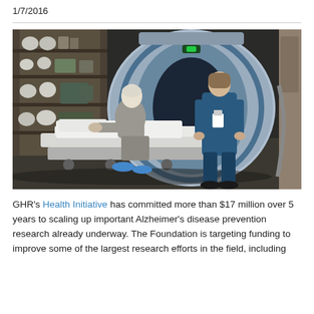1/7/2016
[Figure (photo): An elderly man in a hospital gown and blue shoe covers sitting on an MRI scanner bed, assisted by a female medical professional in blue scrubs with an ID badge, in front of a large MRI machine in a clinical room with shelving units.]
GHR's Health Initiative has committed more than $17 million over 5 years to scaling up important Alzheimer's disease prevention research already underway. The Foundation is targeting funding to improve some of the largest research efforts in the field, including